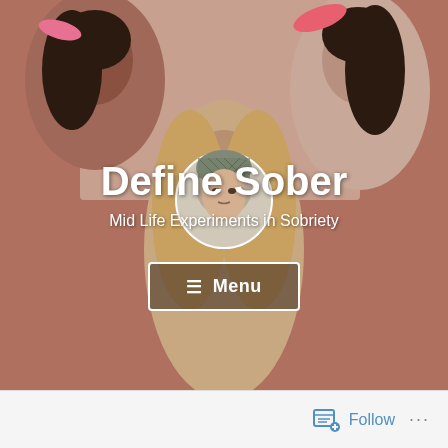[Figure (photo): Blog header image showing three women from what appears to be a vintage 1960s/70s film scene with pills visible in background, and a circular avatar image of a person with a patterned head covering overlaid in the center]
Define Sober
Mid Life Experiments in Sobriety
☰ Menu
Follow ...